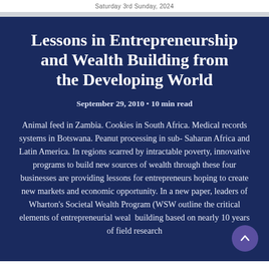Saturday, 3rd Sunday, 2024
Lessons in Entrepreneurship and Wealth Building from the Developing World
September 29, 2010 • 10 min read
Animal feed in Zambia. Cookies in South Africa. Medical records systems in Botswana. Peanut processing in sub-Saharan Africa and Latin America. In regions scarred by intractable poverty, innovative programs to build new sources of wealth through these four businesses are providing lessons for entrepreneurs hoping to create new markets and economic opportunity. In a new paper, leaders of Wharton's Societal Wealth Program (WSW outline the critical elements of entrepreneurial wealth building based on nearly 10 years of field research